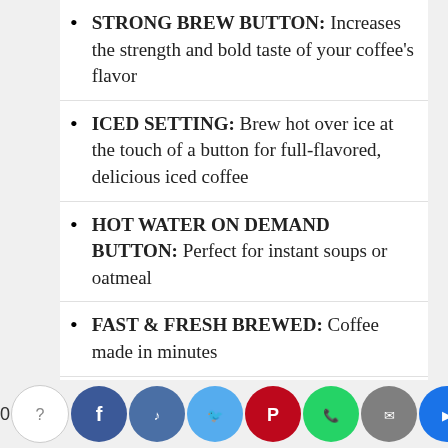STRONG BREW BUTTON: Increases the strength and bold taste of your coffee’s flavor
ICED SETTING: Brew hot over ice at the touch of a button for full-flavored, delicious iced coffee
HOT WATER ON DEMAND BUTTON: Perfect for instant soups or oatmeal
FAST & FRESH BREWED: Coffee made in minutes
LARGE 75oz WATER RESERVOIR: Allows you to